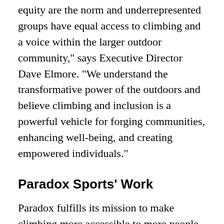equity are the norm and underrepresented groups have equal access to climbing and a voice within the larger outdoor community," says Executive Director Dave Elmore. "We understand the transformative power of the outdoors and believe climbing and inclusion is a powerful vehicle for forging communities, enhancing well-being, and creating empowered individuals."
Paradox Sports' Work
Paradox fulfills its mission to make climbing more accessible to more people through three distinct program elements:
National Trips provide increased access to rock and ice climbing experiences in amazing climbing locations like Yosemite, Ouray, the